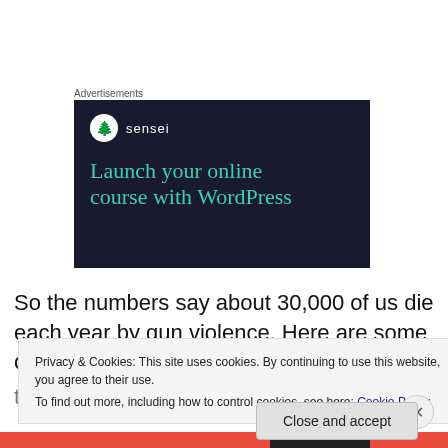Advertisements
[Figure (illustration): Advertisement banner for 'sensei' with dark navy background, sensei logo (circle with tree icon), and text 'Launch your online course with WordPress' in teal/green color]
So the numbers say about 30,000 of us die each year by gun violence. Here are some other things that kill more ... 700,000 Americans die each...
Privacy & Cookies: This site uses cookies. By continuing to use this website, you agree to their use.
To find out more, including how to control cookies, see here: Cookie Policy
Close and accept